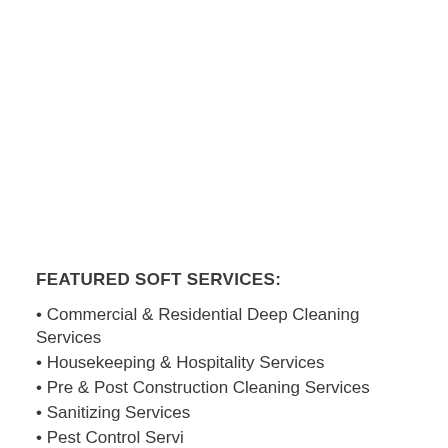FEATURED SOFT SERVICES:
Commercial & Residential Deep Cleaning Services
Housekeeping & Hospitality Services
Pre & Post Construction Cleaning Services
Sanitizing Services
Pest Control Services